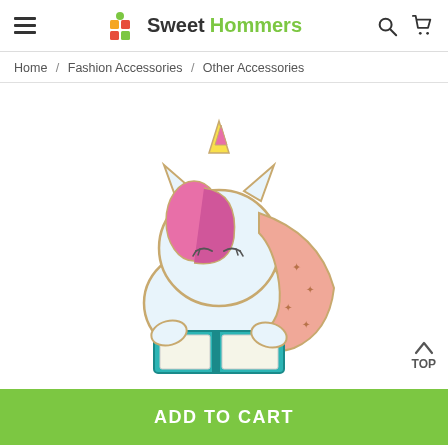Sweet Hommers — navigation header with hamburger menu, logo, search and cart icons
Home / Fashion Accessories / Other Accessories
[Figure (photo): Colorful enamel unicorn pin reading a teal book, with pink and peach mane, spiral horn in pink and yellow, on white background]
ADD TO CART